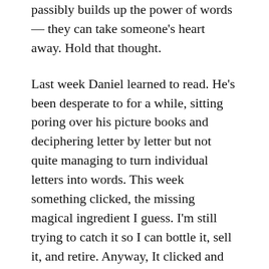passibly builds up the power of words — they can take someone's heart away. Hold that thought.
Last week Daniel learned to read. He's been desperate to for a while, sitting poring over his picture books and deciphering letter by letter but not quite managing to turn individual letters into words. This week something clicked, the missing magical ingredient I guess. I'm still trying to catch it so I can bottle it, sell it, and retire. Anyway, It clicked and we sat together and he read me a whole story by himself. What happened was he wanted to sit near me while I was making tea so I gave him an early reader I'd got out from the library in case he could manage the odd word. I thought